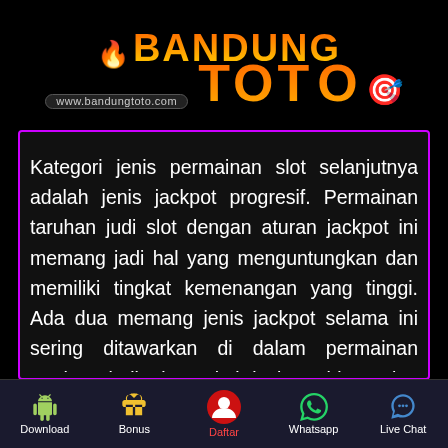[Figure (logo): BandungToto logo with flame icons and website URL www.bandungtoto.com on black background]
Kategori jenis permainan slot selanjutnya adalah jenis jackpot progresif. Permainan taruhan judi slot dengan aturan jackpot ini memang jadi hal yang menguntungkan dan memiliki tingkat kemenangan yang tinggi. Ada dua memang jenis jackpot selama ini sering ditawarkan di dalam permainan taruhan judi slot yakni jackpot biasa dan progresif. Jika kamu mau dapat kekayaan mudah dalam permainan taruhan judi slot, kamu sebaiknya mencoba untuk bermain permainan taruhan judi slot progressive jackpot.
Download | Bonus | Daftar | Whatsapp | Live Chat